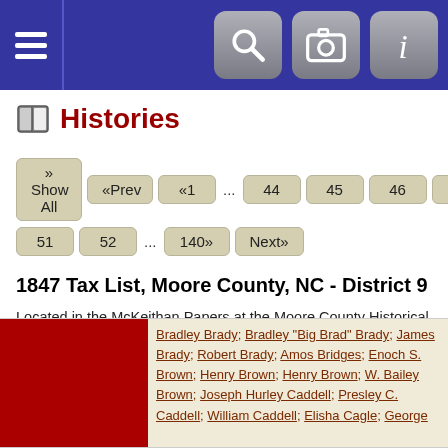Histories — navigation bar with hamburger menu, search, camera, and info icons
Histories
» Show All  «Prev  «1  ...  44  45  46  47  48  49  50  51  52  ...  140»  Next»
1847 Tax List, Moore County, NC - District 9
Located in the McKeithan Papers at the Moore County Historical Association. Courtesy of James V. Comer.
Download PDF
Bradley Brady; Bradley "Big Brad" Brady; James Brady; Robert Brady; Amos Bridges; Enoch S. Brown; Henry Brown; Henry Brown; W. Bailey Brown; Joseph Hurley Caddell; Presley C. Caddell; William Caddell; Elisha Cagle; George